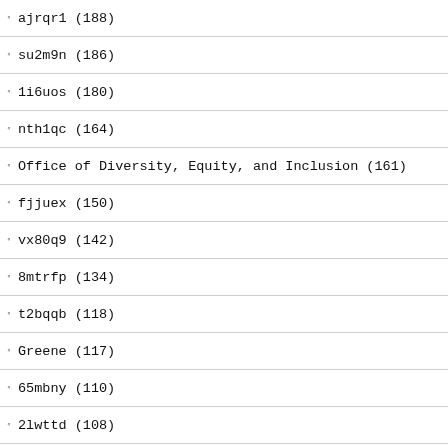ajrqr1 (188)
su2m9n (186)
1i6uos (180)
nth1qc (164)
Office of Diversity, Equity, and Inclusion (161)
fjjuex (150)
vx80q9 (142)
8mtrfp (134)
t2bqqb (118)
Greene (117)
65mbny (110)
2lwttd (108)
Lucas (106)
7lpb3h (92)
Office of Advancement (91)
m6qqac (87)